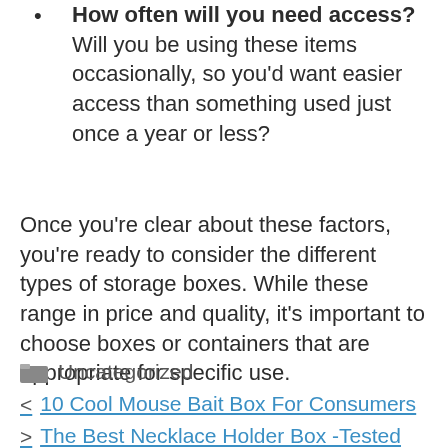How often will you need access? Will you be using these items occasionally, so you'd want easier access than something used just once a year or less?
Once you're clear about these factors, you're ready to consider the different types of storage boxes. While these range in price and quality, it's important to choose boxes or containers that are appropriate for specific use.
Uncategorized
10 Cool Mouse Bait Box For Consumers
The Best Necklace Holder Box -Tested By Experts